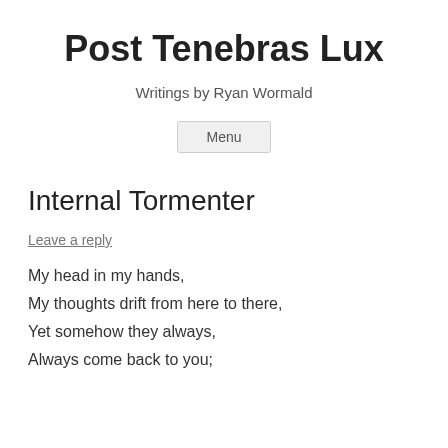Post Tenebras Lux
Writings by Ryan Wormald
Menu
Internal Tormenter
Leave a reply
My head in my hands,
My thoughts drift from here to there,
Yet somehow they always,
Always come back to you;